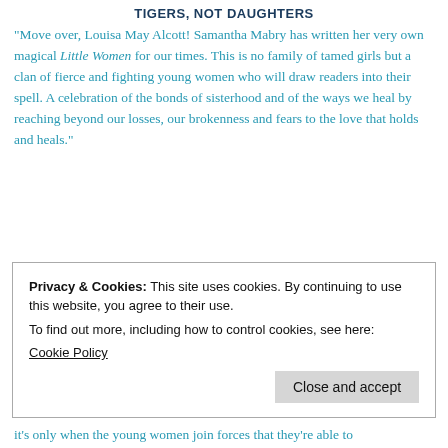TIGERS, NOT DAUGHTERS
"Move over, Louisa May Alcott! Samantha Mabry has written her very own magical Little Women for our times. This is no family of tamed girls but a clan of fierce and fighting young women who will draw readers into their spell. A celebration of the bonds of sisterhood and of the ways we heal by reaching beyond our losses, our brokenness and fears to the love that holds and heals."
Privacy & Cookies: This site uses cookies. By continuing to use this website, you agree to their use.
To find out more, including how to control cookies, see here:
Cookie Policy
Close and accept
it's only when the young women join forces that they're able to